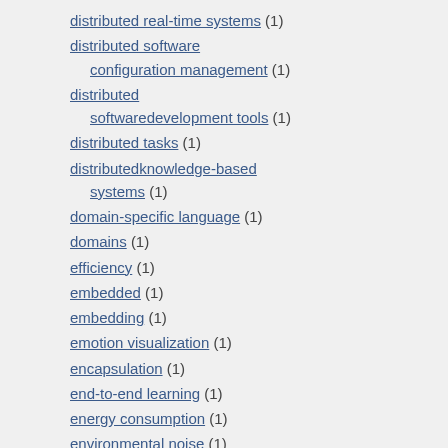distributed real-time systems (1)
distributed software configuration management (1)
distributed softwaredevelopment tools (1)
distributed tasks (1)
distributedknowledge-based systems (1)
domain-specific language (1)
domains (1)
efficiency (1)
embedded (1)
embedding (1)
emotion visualization (1)
encapsulation (1)
end-to-end learning (1)
energy consumption (1)
environmental noise (1)
epidemic algorithms (1)
epidemische Algorithmen (1)
ernergy effcient motion (1)